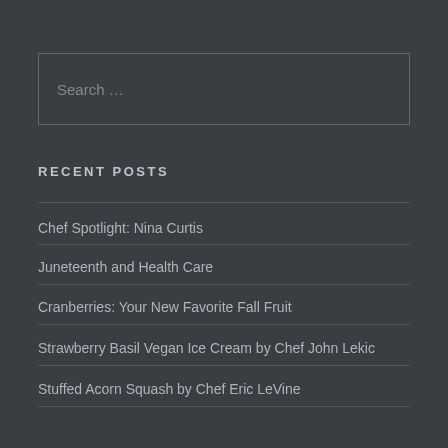Search …
RECENT POSTS
Chef Spotlight: Nina Curtis
Juneteenth and Health Care
Cranberries: Your New Favorite Fall Fruit
Strawberry Basil Vegan Ice Cream by Chef John Lekic
Stuffed Acorn Squash by Chef Eric LeVine